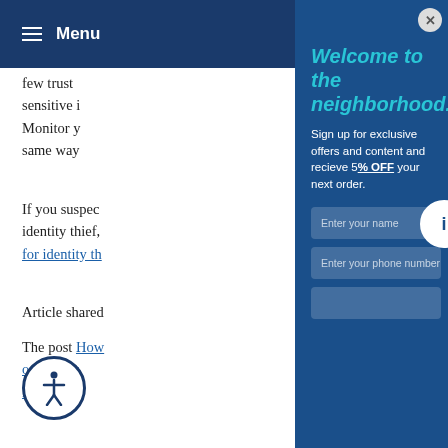≡ Menu
few trust sensitive i Monitor y same way
If you suspect identity thief, for identity th
Article shared
The post How onal infor lorNews.
[Figure (screenshot): Modal overlay on dark blue background with title 'Welcome to the neighborhood.' in italic cyan text, body text 'Sign up for exclusive offers and content and recieve 5% OFF your next order.', two input fields: 'Enter your name' and 'Enter your phone number', a close button (X) in top right, and a circular info button on the right edge.]
Welcome to the neighborhood.
Sign up for exclusive offers and content and recieve 5% OFF your next order.
Enter your name
Enter your phone number